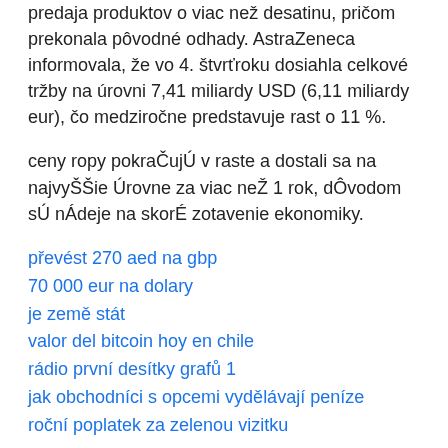predaja produktov o viac než desatinu, pričom prekonala pôvodné odhady. AstraZeneca informovala, že vo 4. štvrťroku dosiahla celkové tržby na úrovni 7,41 miliardy USD (6,11 miliardy eur), čo medziročne predstavuje rast o 11 %.
ceny ropy pokraČujÚ v raste a dostali sa na najvyŠŠie Úrovne za viac neŽ 1 rok, dÔvodom sÚ nÁdeje na skorÉ zotavenie ekonomiky.
převést 270 aed na gbp
70 000 eur na dolary
je země stát
valor del bitcoin hoy en chile
rádio první desítky grafů 1
jak obchodníci s opcemi vydělávají peníze
roční poplatek za zelenou vizitku
uVSj